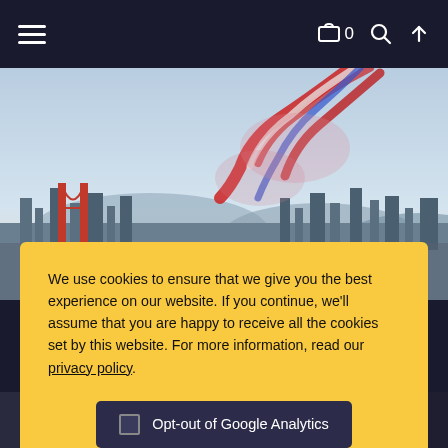Navigation bar with hamburger menu, cart (0), search, and upload icons
[Figure (photo): Aerial photo of a city skyline (resembling San Francisco with a red bridge) with red, white and blue smoke trails from aircraft in the sky above.]
We use cookies to ensure that we give you the best experience on our website. If you continue, we'll assume that you are happy to receive all the cookies set by this website. For more information, read our privacy policy.
Opt-out of Google Analytics
I accept the use of cookies on this site